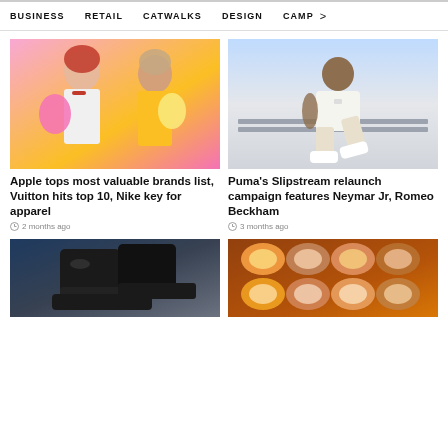BUSINESS    RETAIL    CATWALKS    DESIGN    CAMP >
[Figure (photo): Two female models posing with pink and yellow outfits and handbags against a pink background]
Apple tops most valuable brands list, Vuitton hits top 10, Nike key for apparel
2 months ago
[Figure (photo): Male model (Neymar Jr) sitting casually in white outfit and white sneakers in an airport-style setting]
Puma's Slipstream relaunch campaign features Neymar Jr, Romeo Beckham
3 months ago
[Figure (photo): Close-up of black leather boots/shoes on a blue background]
[Figure (photo): Multiple hats with suede/fabric tops arranged in a grid, showing various tones of orange, beige and cream]